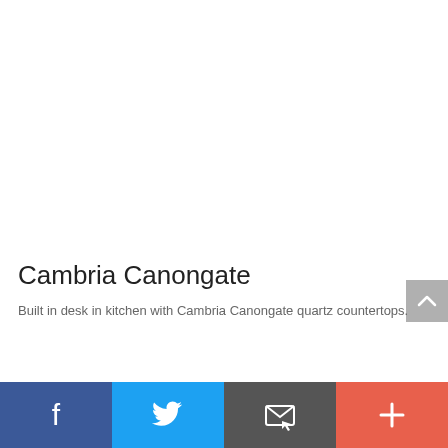Cambria Canongate
Built in desk in kitchen with Cambria Canongate quartz countertops.
[Figure (other): Social sharing bar with Facebook, Twitter, email, and more buttons]